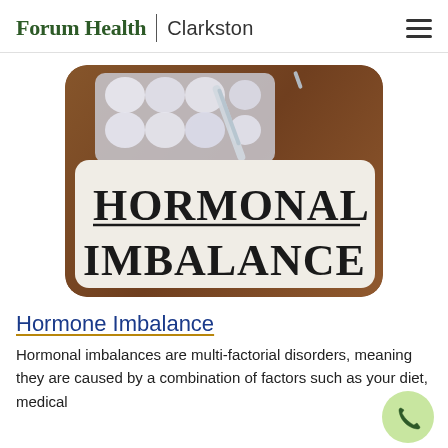Forum Health | Clarkston
[Figure (photo): Photo of a paper card reading 'HORMONAL IMBALANCE' in large bold text, with pill blister packs and a syringe visible in the background on a wooden surface.]
Hormone Imbalance
Hormonal imbalances are multi-factorial disorders, meaning they are caused by a combination of factors such as your diet, medical